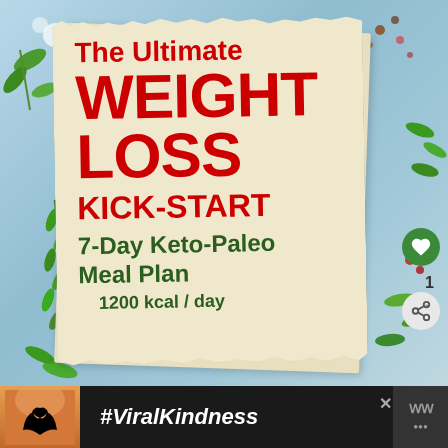[Figure (illustration): Promotional infographic cover for 'The Ultimate Weight Loss Kick-Start 7-Day Keto-Paleo Meal Plan 1200 kcal/day'. Features a torn paper/card design on a light blue background with herbs and spices scattered around. Bold red text for main title, dark green for subtitle. Heart like button and share button visible on right side.]
The Ultimate WEIGHT LOSS KICK-START 7-Day Keto-Paleo Meal Plan 1200 kcal / day
#ViralKindness